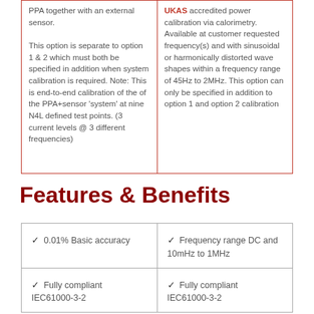| PPA together with an external sensor.
This option is separate to option 1 & 2 which must both be specified in addition when system calibration is required. Note: This is end-to-end calibration of the of the PPA+sensor 'system' at nine N4L defined test points. (3 current levels @ 3 different frequencies) | UKAS accredited power calibration via calorimetry. Available at customer requested frequency(s) and with sinusoidal or harmonically distorted wave shapes within a frequency range of 45Hz to 2MHz. This option can only be specified in addition to option 1 and option 2 calibration |
Features & Benefits
| ✓ 0.01% Basic accuracy | ✓ Frequency range DC and 10mHz to 1MHz |
| ✓ Fully compliant
IEC61000-3-2 | ✓ Fully compliant
IEC61000-3-2 |